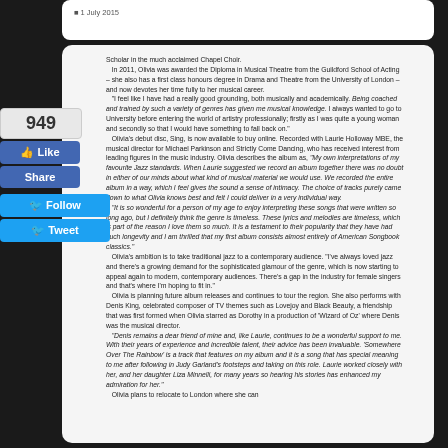1 July 2015
Scholar in the much acclaimed Chapel Choir.
   In 2011, Olivia was awarded the Diploma in Musical Theatre from the Guildford School of Acting – she also has a first class honours degree in Drama and Theatre from the University of London – and now devotes her time fully to her musical career.
   "I feel like I have had a really good grounding, both musically and academically. Being coached and trained by such a variety of genres has given me musical knowledge. I always wanted to go to University before entering the world of artistry professionally; firstly as I was quite a young woman and secondly so that I would have something to fall back on."
   Olivia's debut disc, Sing, is now available to buy online. Recorded with Laurie Holloway MBE, the musical director for Michael Parkinson and Strictly Come Dancing, who has received interest from leading figures in the music industry. Olivia describes the album as, "My own interpretations of my favourite Jazz standards. When Laurie suggested we record an album together there was no doubt in either of our minds about what kind of musical material we would use. We recorded the entire album in a way, which I feel gives the sound a sense of intimacy. The choice of tracks purely came down to what Olivia knows best and felt I could deliver in a very individual way.
   "It is so wonderful for a person of my age to enjoy interpreting these songs that were written so long ago, but I definitely think the genre is timeless. These lyrics and melodies are timeless, which is part of the reason I love them so much. It is a testament to their popularity that they have had such longevity and I am thrilled that my first album consists almost entirely of American Songbook classics."
   Olivia's ambition is to take traditional jazz to a contemporary audience. "I've always loved jazz and there's a growing demand for the sophisticated glamour of the genre, which is now starting to appeal again to modern, contemporary audiences. There's a gap in the industry for female singers and that's where I'm hoping to fit in."
   Olivia is planning future album releases and continues to tour the region. She also performs with Denis King, celebrated composer of TV themes such as Lovejoy and Black Beauty, a friendship that was first formed when Olivia starred as Dorothy in a production of 'Wizard of Oz' where Denis was the musical director.
   "Denis remains a dear friend of mine and, like Laurie, continues to be a wonderful support to me. With their years of experience and incredible talent, their advice has been invaluable. 'Somewhere Over The Rainbow' is a track that features on my album and it is a song that has special meaning to me after following in Judy Garland's footsteps and taking on this role. Laurie worked closely with her, and her daughter Liza Minnelli, for many years so hearing his stories has enhanced my admiration for her."
   Olivia plans to relocate to London where she can